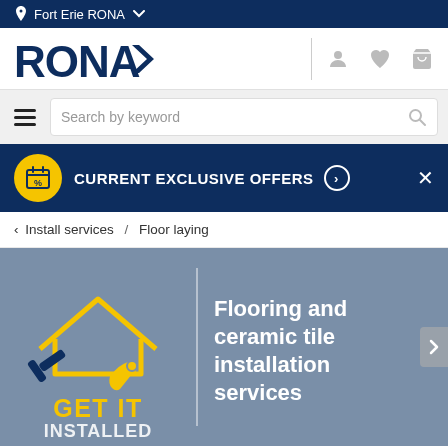Fort Erie RONA
[Figure (logo): RONA logo with navy text and chevron mark]
Search by keyword
CURRENT EXCLUSIVE OFFERS
Install services / Floor laying
[Figure (illustration): RONA GET IT INSTALLED house icon with hammer and wrench, yellow outline on blue-gray background]
Flooring and ceramic tile installation services